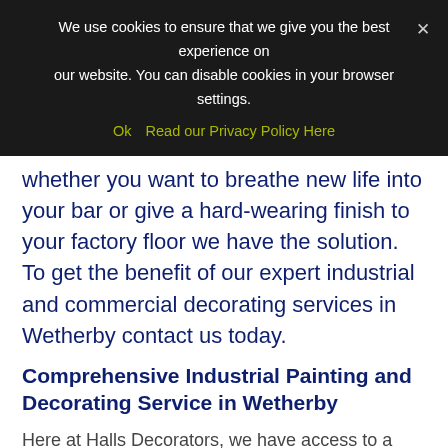We use cookies to ensure that we give you the best experience on our website. You can disable cookies in your browser settings.
Ok  Read our Privacy Policy Here
whether you want to breathe new life into your bar or give a hard-wearing finish to your factory floor we have the solution.  To get the benefit of our expert industrial and commercial decorating services in Wetherby contact us today.
Comprehensive Industrial Painting and Decorating Service in Wetherby
Here at Halls Decorators, we have access to a wide range of heavy-duty coatings for use in Industrial spaces. Over the last 35 years